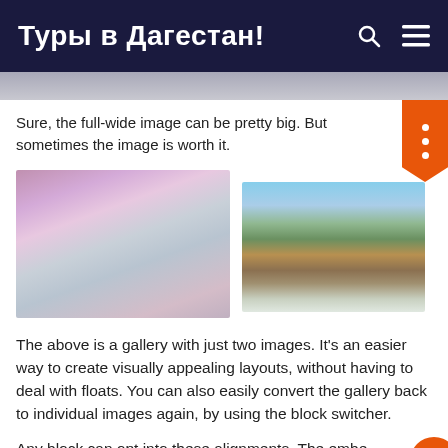Туры в Дагестан!
Sure, the full-wide image can be pretty big. But sometimes the image is worth it.
[Figure (photo): Two-image gallery. Left: aerial view of pink and purple clouds over snowy mountains. Right: rocky mountain landscape with snow patches and green slopes.]
The above is a gallery with just two images. It's an easier way to create visually appealing layouts, without having to deal with floats. You can also easily convert the gallery back to individual images again, by using the block switcher.
Any block can opt into these alignments. The embe